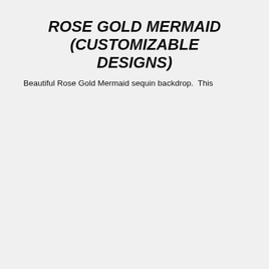[Figure (photo): A bearded man in a red polo shirt holding a pink mustache prop on a stick in front of his face, posed in front of a red sequin backdrop with white streaks.]
ROSE GOLD MERMAID (CUSTOMIZABLE DESIGNS)
Beautiful Rose Gold Mermaid sequin backdrop. This